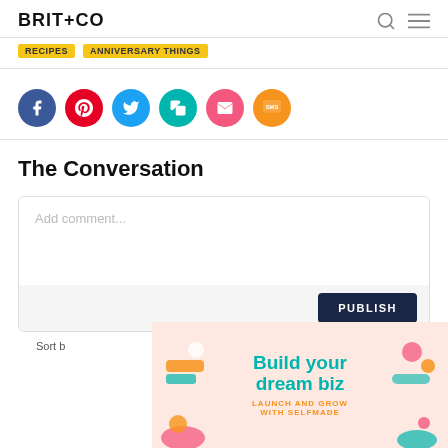BRIT+CO
Recipes  Anniversary Things
[Figure (infographic): Row of social sharing buttons: Facebook (blue), Pinterest (red), Twitter (light blue), Copy Link (teal), Email (pink), SMS (orange)]
The Conversation
Add comment...
PUBLISH
Sort b
[Figure (infographic): Advertisement overlay: 'Build your dream biz — LAUNCH AND GROW WITH SELFMADE' on a peach/pink background with colorful decorative illustrations on left and right sides]